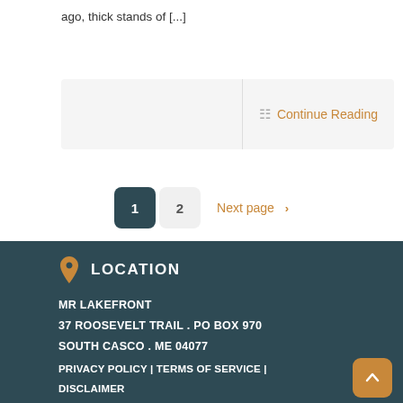ago, thick stands of [...]
Continue Reading
1  2  Next page >
LOCATION
MR LAKEFRONT
37 ROOSEVELT TRAIL . PO BOX 970
SOUTH CASCO . ME 04077
PRIVACY POLICY | TERMS OF SERVICE | DISCLAIMER